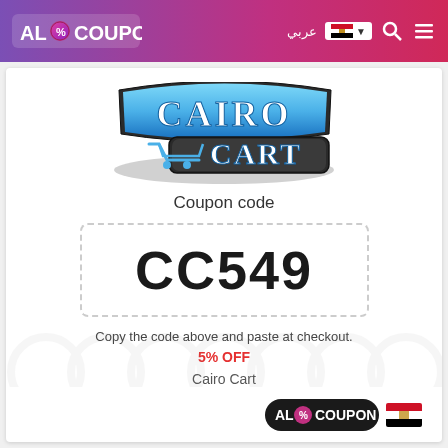AlCoupon - عربي - Egypt flag - Search - Menu
[Figure (logo): Cairo Cart logo - blue metallic text with shopping cart graphic]
Coupon code
CC549
Copy the code above and paste at checkout.
5% OFF
Cairo Cart
[Figure (logo): AlCoupon logo with Egypt flag]